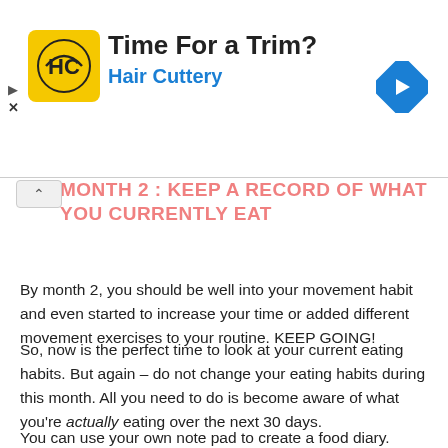[Figure (other): Hair Cuttery advertisement banner with yellow HC logo, title 'Time For a Trim?', subtitle 'Hair Cuttery', and a blue diamond navigation arrow icon on the right.]
MONTH 2 : KEEP A RECORD OF WHAT YOU CURRENTLY EAT
By month 2, you should be well into your movement habit and even started to increase your time or added different movement exercises to your routine. KEEP GOING!
So, now is the perfect time to look at your current eating habits.  But again – do not change your eating habits during this month.  All you need to do is become aware of what you're actually eating over the next 30 days.
You can use your own note pad to create a food diary.